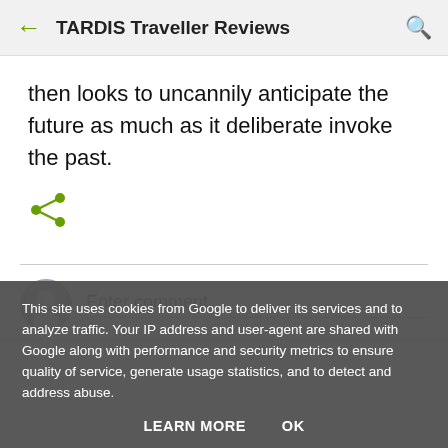TARDIS Traveller Reviews
then looks to uncannily anticipate the future as much as it deliberate invoke the past.
[Figure (other): Share icon (green)]
Enter comment
This site uses cookies from Google to deliver its services and to analyze traffic. Your IP address and user-agent are shared with Google along with performance and security metrics to ensure quality of service, generate usage statistics, and to detect and address abuse.
LEARN MORE   OK